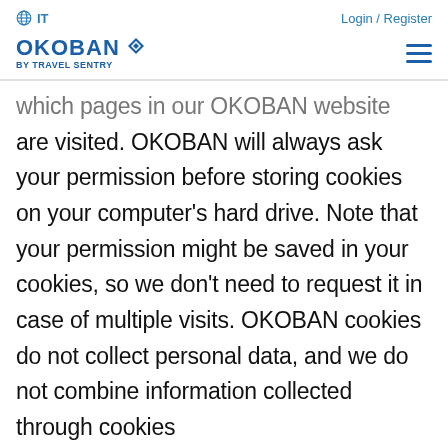IT   Login / Register
[Figure (logo): OKOBAN by TRAVEL SENTRY logo with diamond/compass icon and hamburger menu]
which pages in our OKOBAN website are visited. OKOBAN will always ask your permission before storing cookies on your computer's hard drive. Note that your permission might be saved in your cookies, so we don't need to request it in case of multiple visits. OKOBAN cookies do not collect personal data, and we do not combine information collected through cookies